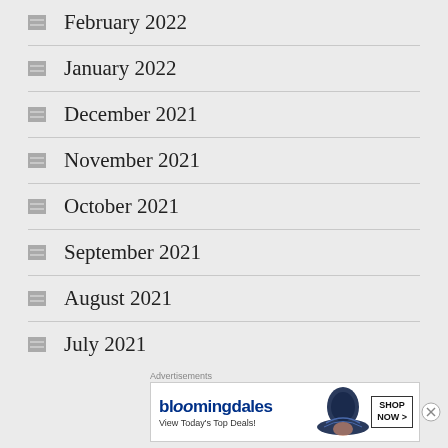February 2022
January 2022
December 2021
November 2021
October 2021
September 2021
August 2021
July 2021
[Figure (screenshot): Bloomingdale's advertisement banner: 'bloomingdales - View Today's Top Deals! SHOP NOW >']